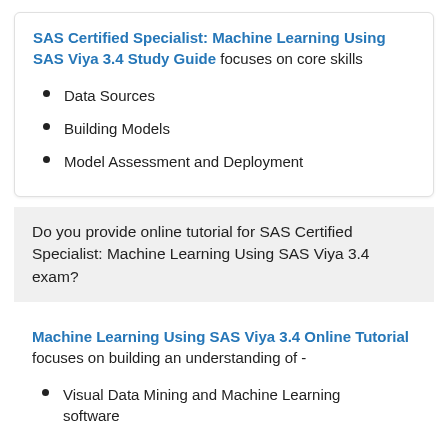SAS Certified Specialist: Machine Learning Using SAS Viya 3.4 Study Guide focuses on core skills
Data Sources
Building Models
Model Assessment and Deployment
Do you provide online tutorial for SAS Certified Specialist: Machine Learning Using SAS Viya 3.4 exam?
Machine Learning Using SAS Viya 3.4 Online Tutorial focuses on building an understanding of -
Visual Data Mining and Machine Learning software